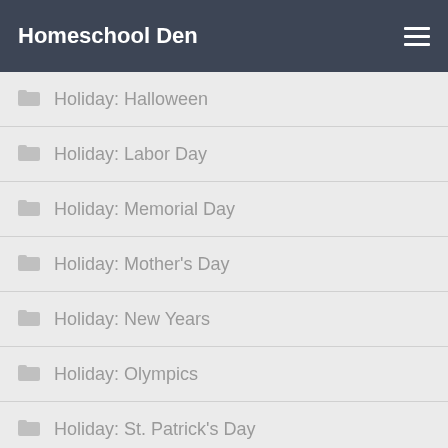Homeschool Den
Holiday: Halloween
Holiday: Labor Day
Holiday: Memorial Day
Holiday: Mother's Day
Holiday: New Years
Holiday: Olympics
Holiday: St. Patrick's Day
Holiday: Thanksgiving
Holiday: Valentine's Day